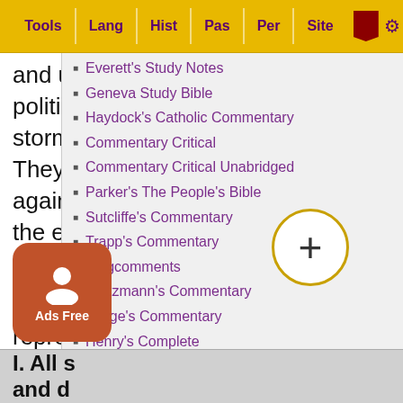Tools | Lang | Hist | Pas | Per | Site
and unbelieving spirit that sought this alliance. The politicians sought a covering from the impending storm; but they did not seek it by divine counsel. They were adding another sin to the number against them. It would be shame and confusion at the end. Egypt would be unwilling or unable to help.
Human nature is ever the same. Here is a representation of the [way] in which sinners act, and of [its] consequences.
I. All s[inners act this way] and d[o these things]
Everett's Study Notes
Geneva Study Bible
Haydock's Catholic Commentary
Commentary Critical
Commentary Critical Unabridged
Parker's The People's Bible
Sutcliffe's Commentary
Trapp's Commentary
Kingcomments
Kretzmann's Commentary
Lange's Commentary
Henry's Complete
Henry's Concise
Poole's Annotations
Pett's Commentary